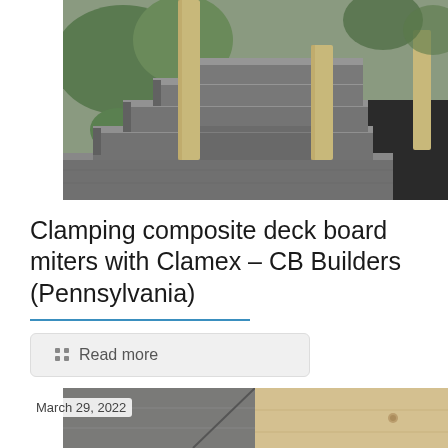[Figure (photo): Outdoor composite deck stairs with gray boards, wooden posts, and surrounding garden with plants and dark soil.]
Clamping composite deck board miters with Clamex – CB Builders (Pennsylvania)
Read more
[Figure (photo): Close-up of composite deck board miters showing gray and light wood surfaces meeting at an angle.]
March 29, 2022